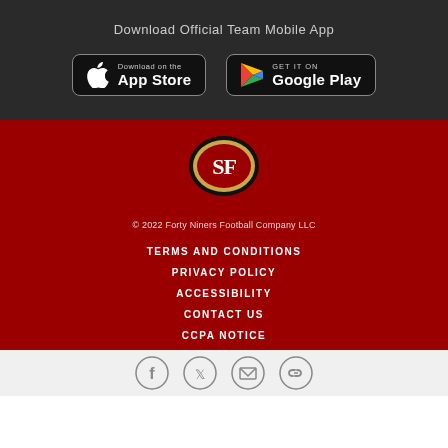Download Official Team Mobile App
[Figure (screenshot): App Store download button (black with Apple logo)]
[Figure (screenshot): Google Play download button (black with Google Play logo)]
[Figure (logo): San Francisco 49ers logo - SF letters on oval with gold and black border on red background]
© 2022 Forty Niners Football Company LLC
TERMS AND CONDITIONS
PRIVACY POLICY
ACCESSIBILITY
CONTACT US
CCPA NOTICE
[Figure (infographic): Social media icons row: Facebook, Twitter, Email, Link]